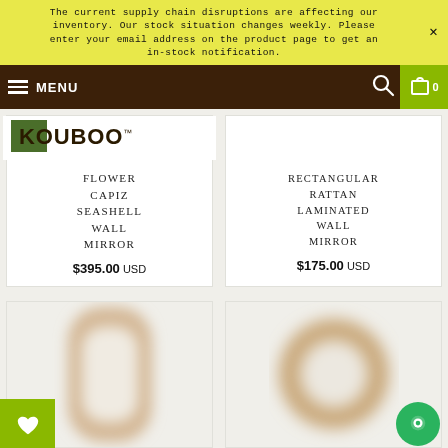The current supply chain disruptions are affecting our inventory. Our stock situation changes weekly. Please enter your email address on the product page to get an in-stock notification.
MENU
[Figure (logo): KOUBOO brand logo in bold black text with TM mark]
FLOWER CAPIZ SEASHELL WALL MIRROR
$395.00 USD
RECTANGULAR RATTAN LAMINATED WALL MIRROR
$175.00 USD
[Figure (photo): Blurred product photo of a rectangular rattan wall mirror with rounded corners]
[Figure (photo): Blurred product photo of a round rattan wall mirror]